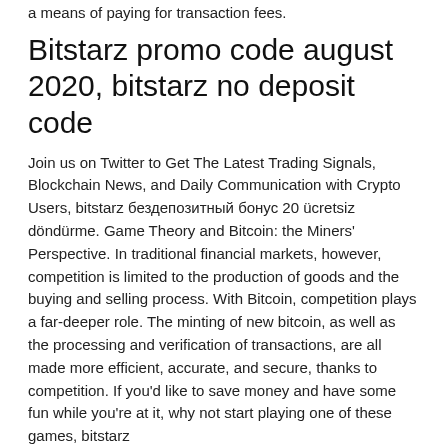a means of paying for transaction fees.
Bitstarz promo code august 2020, bitstarz no deposit code
Join us on Twitter to Get The Latest Trading Signals, Blockchain News, and Daily Communication with Crypto Users, bitstarz бездепозитный бонус 20 ücretsiz döndürme. Game Theory and Bitcoin: the Miners' Perspective. In traditional financial markets, however, competition is limited to the production of goods and the buying and selling process. With Bitcoin, competition plays a far-deeper role. The minting of new bitcoin, as well as the processing and verification of transactions, are all made more efficient, accurate, and secure, thanks to competition. If you'd like to save money and have some fun while you're at it, why not start playing one of these games, bitstarz